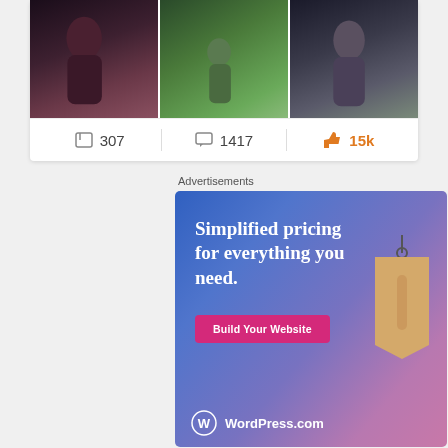[Figure (photo): Three social media photos showing people]
307   1417   15k
Advertisements
[Figure (infographic): WordPress.com advertisement banner: Simplified pricing for everything you need. Build Your Website button. WordPress.com logo at bottom.]